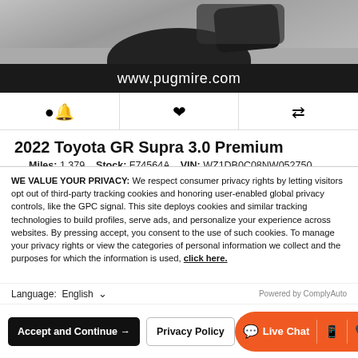[Figure (photo): Partial view of a car (rear/bottom) on pavement, cropped at top of page]
www.pugmire.com
[Figure (other): Three icon buttons: bell (alert), heart (favorite), compare arrows]
2022 Toyota GR Supra 3.0 Premium
Miles: 1,379   Stock: F74564A   VIN: WZ1DB0C08NW052750
Market Value:	$68,998
You Save:	$2,007
Price:	$66,991
Finance For:
WE VALUE YOUR PRIVACY: We respect consumer privacy rights by letting visitors opt out of third-party tracking cookies and honoring user-enabled global privacy controls, like the GPC signal. This site deploys cookies and similar tracking technologies to build profiles, serve ads, and personalize your experience across websites. By pressing accept, you consent to the use of such cookies. To manage your privacy rights or view the categories of personal information we collect and the purposes for which the information is used, click here.
Language:  English  ∨    Powered by ComplyAuto
Accept and Continue →
Privacy Policy
Live Chat